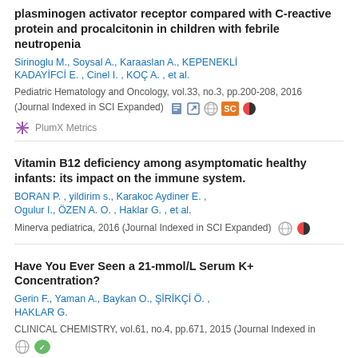plasminogen activator receptor compared with C-reactive protein and procalcitonin in children with febrile neutropenia
Sirinoglu M., Soysal A., Karaaslan A., KEPENEKLİ KADAYİFCİ E., Cinel I., KOÇ A., et al.
Pediatric Hematology and Oncology, vol.33, no.3, pp.200-208, 2016 (Journal Indexed in SCI Expanded)
PlumX Metrics
Vitamin B12 deficiency among asymptomatic healthy infants: its impact on the immune system.
BORAN P., yildirim s., Karakoc Aydiner E., Ogulur I., ÖZEN A. O., Haklar G., et al.
Minerva pediatrica, 2016 (Journal Indexed in SCI Expanded)
Have You Ever Seen a 21-mmol/L Serum K+ Concentration?
Gerin F., Yaman A., Baykan O., ŞİRİKÇİ Ö., HAKLAR G.
CLINICAL CHEMISTRY, vol.61, no.4, pp.671, 2015 (Journal Indexed in